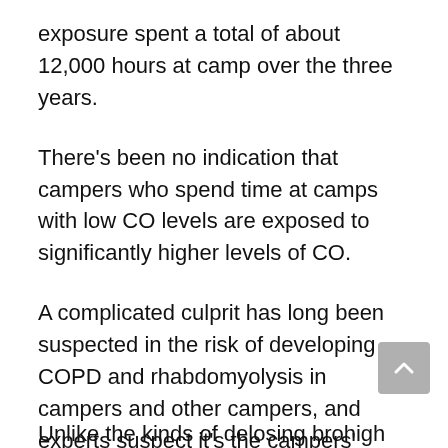exposure spent a total of about 12,000 hours at camp over the three years.
There's been no indication that campers who spend time at camps with low CO levels are exposed to significantly higher levels of CO.
A complicated culprit has long been suspected in the risk of developing COPD and rhabdomyolysis in campers and other campers, and experts suspect it's the campers' exposure to summer night air.
Unlike the kinds of chronic lung high